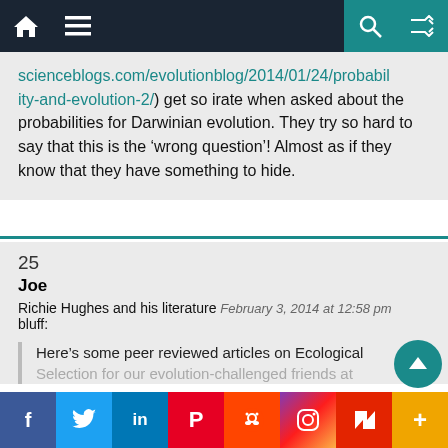Navigation bar with home, menu, search, shuffle icons
scienceblogs.com/evolutionblog/2014/01/24/probability-and-evolution-2/) get so irate when asked about the probabilities for Darwinian evolution. They try so hard to say that this is the ‘wrong question’! Almost as if they know that they have something to hide.
25
Joe
Richie Hughes and his literature bluff: February 3, 2014 at 12:58 pm
Here’s some peer reviewed articles on Ecological Selection for our evolution-challenged friends at